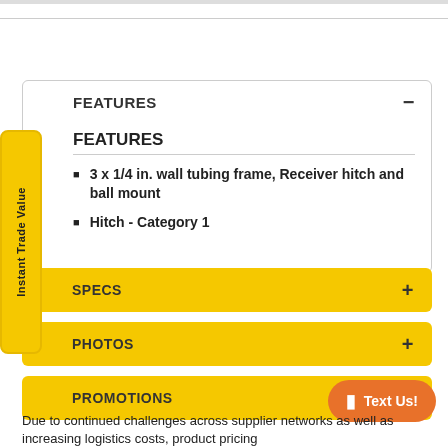FEATURES
FEATURES
3 x 1/4 in. wall tubing frame, Receiver hitch and ball mount
Hitch - Category 1
SPECS
PHOTOS
PROMOTIONS
Due to continued challenges across supplier networks as well as increasing logistics costs, product pricing